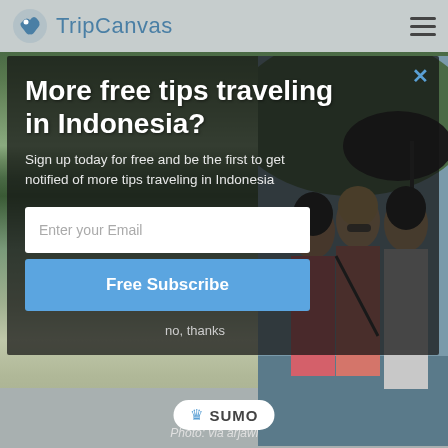TripCanvas
[Figure (screenshot): Modal popup on TripCanvas travel website showing subscription form with photo of three women traveling in Indonesia in background]
More free tips traveling in Indonesia?
Sign up today for free and be the first to get notified of more tips traveling in Indonesia
Enter your Email
Free Subscribe
no, thanks
Photo: via arjawiznu